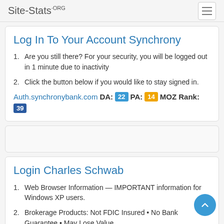Site-Stats.ORG
Log In To Your Account Synchrony
Are you still there? For your security, you will be logged out in 1 minute due to inactivity
Click the button below if you would like to stay signed in.
Auth.synchronybank.com  DA: 22  PA: 14  MOZ Rank: 39
Login Charles Schwab
Web Browser Information — IMPORTANT information for Windows XP users.
Brokerage Products: Not FDIC Insured • No Bank Guarantee • May Lose Value